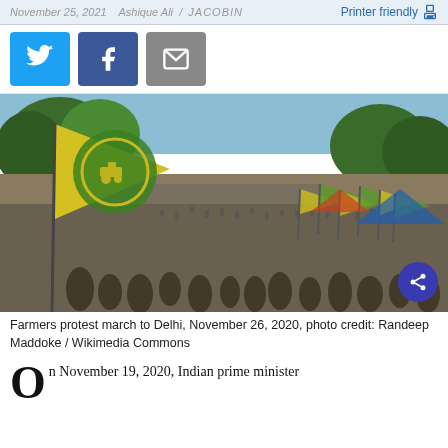November 25, 2021  Ashique Ali  /  Jacobin   Printer friendly
[Figure (photo): Farmers protest march to Delhi, November 26, 2020. Large crowd of protesters holding green and yellow flags, with a large green and yellow BKU flag prominently in the foreground. Trees and open sky in background.]
Farmers protest march to Delhi, November 26, 2020, photo credit: Randeep Maddoke / Wikimedia Commons
On November 19, 2020, Indian prime minister